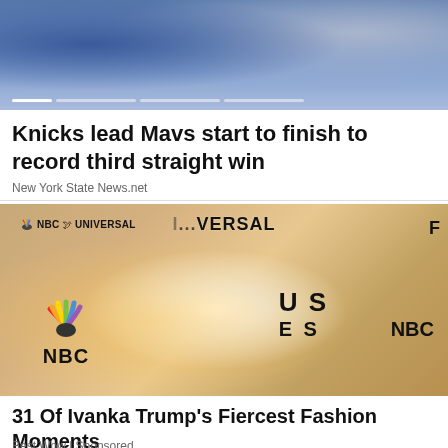[Figure (photo): Sports photo showing people at what appears to be a basketball game or sporting event, with a slider navigation bar at the bottom]
Knicks lead Mavs start to finish to record third straight win
New York State News.net
[Figure (photo): Photo of Ivanka Trump posing at an NBC Universal event, wearing a white dress. NBC peacock logo and NBC Universal branding visible in background.]
31 Of Ivanka Trump's Fiercest Fashion Moments
Best Wow | Sponsored